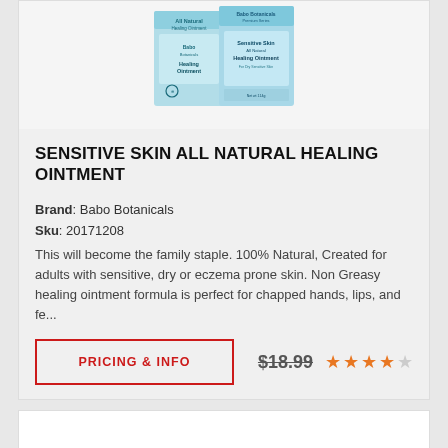[Figure (photo): Product photo of Babo Botanicals Sensitive Skin All Natural Healing Ointment boxes/packaging in light blue color]
SENSITIVE SKIN ALL NATURAL HEALING OINTMENT
Brand: Babo Botanicals
Sku: 20171208
This will become the family staple. 100% Natural, Created for adults with sensitive, dry or eczema prone skin. Non Greasy healing ointment formula is perfect for chapped hands, lips, and fe...
PRICING & INFO
$18.99
★★★★☆